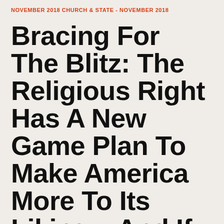NOVEMBER 2018 CHURCH & STATE - NOVEMBER 2018
Bracing For The Blitz: The Religious Right Has A New Game Plan To Make America More To Its Liking – And If It's Not Already In Your